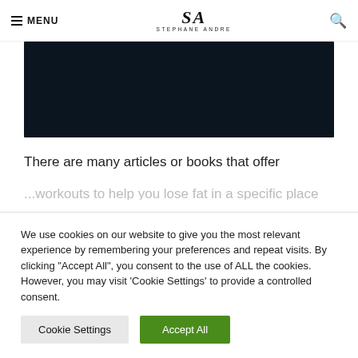MENU | STEPHANE ANDRE | [search]
[Figure (photo): Dark background image, nearly black, appears to be a night scene or dark product/landscape photo]
There are many articles or books that offer
...workouts to help you lose fat in a specific place or...
We use cookies on our website to give you the most relevant experience by remembering your preferences and repeat visits. By clicking "Accept All", you consent to the use of ALL the cookies. However, you may visit 'Cookie Settings' to provide a controlled consent.
Cookie Settings | Accept All